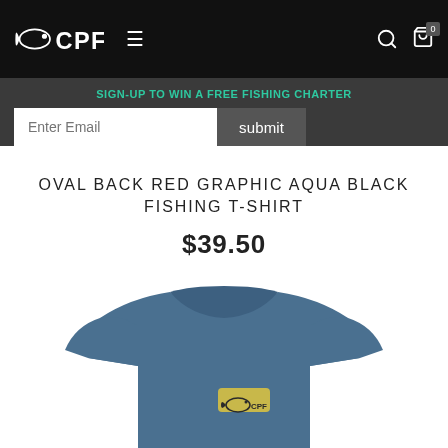[Figure (logo): CPF fishing brand logo with fish icon on black navigation bar, with hamburger menu, search icon, and cart icon showing 0 items]
SIGN-UP TO WIN A FREE FISHING CHARTER
Enter Email
submit
OVAL BACK RED GRAPHIC AQUA BLACK FISHING T-SHIRT
$39.50
[Figure (photo): Blue/slate colored fishing t-shirt with small oval CPF logo graphic on the chest area]